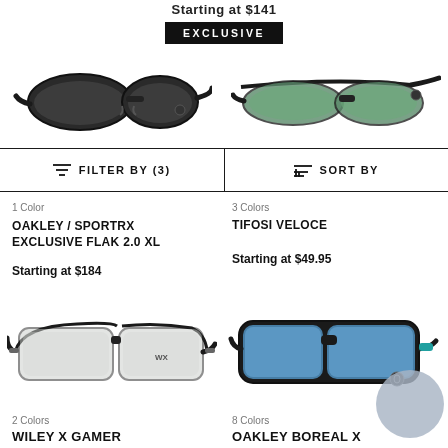Starting at $141
EXCLUSIVE
[Figure (photo): Partial view of black sport sunglasses (Oakley Flak 2.0 XL style) from top-left product slot]
[Figure (photo): Partial view of sport sunglasses with green lenses and black frame from top-right product slot]
FILTER BY (3)
SORT BY
1 Color
OAKLEY / SPORTRX EXCLUSIVE FLAK 2.0 XL
Starting at $184
3 Colors
TIFOSI VELOCE
Starting at $49.95
[Figure (photo): Black sport sunglasses (Wiley X Gamer style) with clear/grey lenses, side view]
[Figure (photo): Black frame sunglasses with blue mirror lenses (Oakley Boreal X style), front/three-quarter view, with color swatch circle overlay]
2 Colors
WILEY X GAMER
8 Colors
OAKLEY BOREAL X